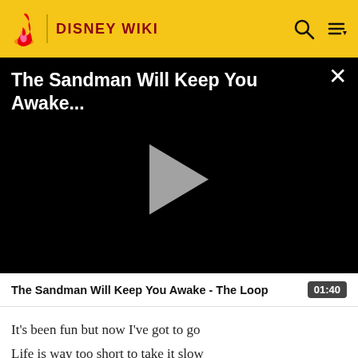DISNEY WIKI
[Figure (screenshot): Video player showing 'The Sandman Will Keep You Awake...' with a play button in the center on a black background, and a close (X) button in the top right.]
The Sandman Will Keep You Awake - The Loop  01:40
It's been fun but now I've got to go
Life is way too short to take it slow
But before I go and hit the road (You know)